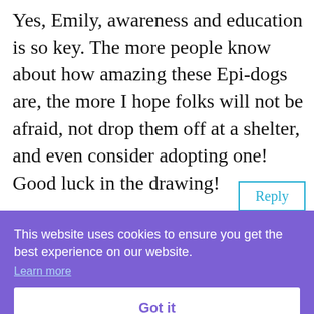Yes, Emily, awareness and education is so key. The more people know about how amazing these Epi-dogs are, the more I hope folks will not be afraid, not drop them off at a shelter, and even consider adopting one! Good luck in the drawing!
Reply
This website uses cookies to ensure you get the best experience on our website.
Learn more
Got it